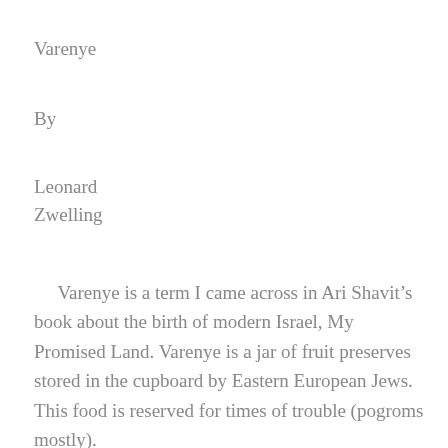Varenye
By
Leonard Zwelling
Varenye is a term I came across in Ari Shavit’s book about the birth of modern Israel, My Promised Land. Varenye is a jar of fruit preserves stored in the cupboard by Eastern European Jews. This food is reserved for times of trouble (pogroms mostly). Varenye for hard...